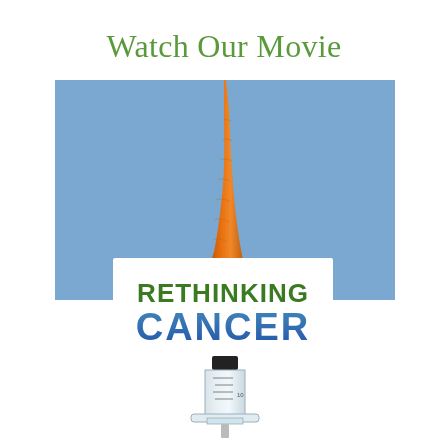Watch Our Movie
[Figure (illustration): Movie poster for 'Rethinking Cancer' featuring an upside-down carrot resembling a syringe needle against a blue sky background, with the title 'RETHINKING CANCER' on a white sign overlaid, and a medical syringe below the sign pointing downward.]